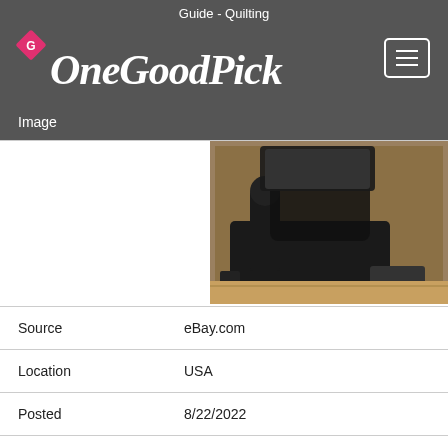Guide - Quilting
[Figure (logo): One Good Pick logo with pink diamond shape containing letter G, white script text on dark grey background]
| Field | Value |
| --- | --- |
| Image | (product photo of vintage Singer sewing machine in case) |
| Source | eBay.com |
| Location | USA |
| Posted | 8/22/2022 |
| Title | Exc Singer 221 1946 Featherweight Portable Sewing Machine 221-1 + Case & Extras |
| Price | $265.00 |